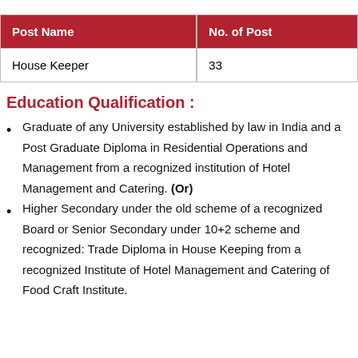| Post Name | No. of Post |
| --- | --- |
| House Keeper | 33 |
Education Qualification :
Graduate of any University established by law in India and a Post Graduate Diploma in Residential Operations and Management from a recognized institution of Hotel Management and Catering. (Or)
Higher Secondary under the old scheme of a recognized Board or Senior Secondary under 10+2 scheme and recognized: Trade Diploma in House Keeping from a recognized Institute of Hotel Management and Catering of Food Craft Institute.